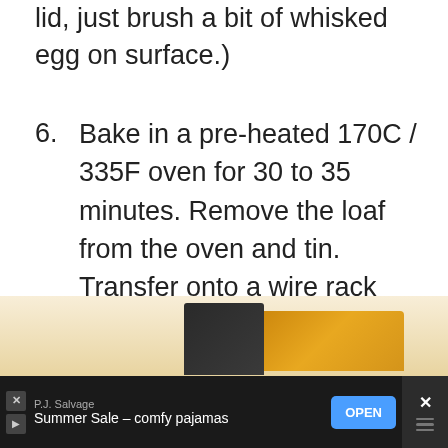lid, just brush a bit of whisked egg on surface.)
6. Bake in a pre-heated 170C / 335F oven for 30 to 35 minutes. Remove the loaf from the oven and tin. Transfer onto a wire rack and let cool completely. Slice to serve or place in an airtight plastic bag or container once it's thoroughly cooled.
[Figure (infographic): Like button (heart icon on teal circle) with count 14, and share button below]
[Figure (infographic): WHAT'S NEXT panel showing Hokkaido Milk Toast thumbnail and text]
[Figure (photo): Partial photo of baked bread loaf in dark tin with golden crust, bottom of page]
[Figure (infographic): Advertisement bar: P.J. Salvage Summer Sale comfy pajamas with OPEN button]